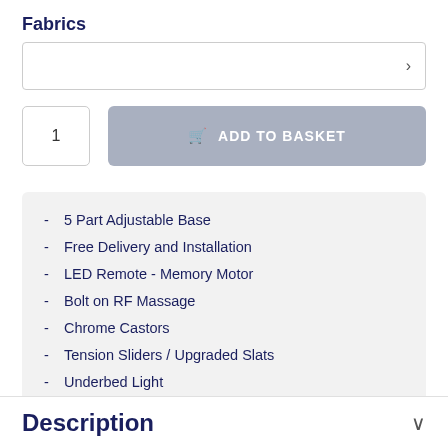Fabrics
[Figure (screenshot): Dropdown selector box for Fabrics with a right arrow indicator]
1
ADD TO BASKET
5 Part Adjustable Base
Free Delivery and Installation
LED Remote - Memory Motor
Bolt on RF Massage
Chrome Castors
Tension Sliders / Upgraded Slats
Underbed Light
Description